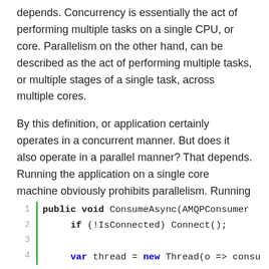depends. Concurrency is essentially the act of performing multiple tasks on a single CPU, or core. Parallelism on the other hand, can be described as the act of performing multiple tasks, or multiple stages of a single task, across multiple cores.
By this definition, or application certainly operates in a concurrent manner. But does it also operate in a parallel manner? That depends. Running the application on a single core machine obviously prohibits parallelism. Running on multiple cores will very likely result in parallel processing. Under the hood, the Daishi.AMQP library invokes a new thread for each Microservice operation that consumes messages from a Queue:
[Figure (screenshot): Code block showing C# method ConsumeAsync with line numbers 1-4, a green vertical bar, bold keywords 'public void' on line 1, 'if' on line 2, 'var' and 'new' on line 4 (partially visible). Line 1: public void ConsumeAsync(AMQPConsumer, Line 2: if (!IsConnected) Connect();, Line 3: (blank), Line 4: var thread = new Thread(o => consu...]